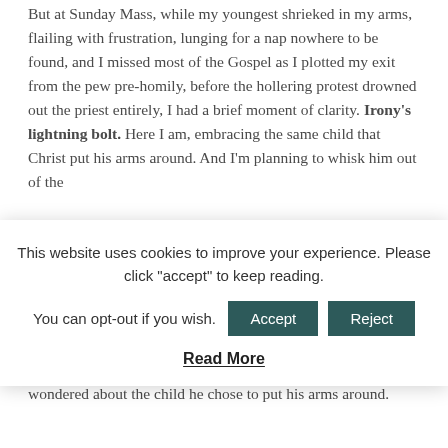But at Sunday Mass, while my youngest shrieked in my arms, flailing with frustration, lunging for a nap nowhere to be found, and I missed most of the Gospel as I plotted my exit from the pew pre-homily, before the hollering protest drowned out the priest entirely, I had a brief moment of clarity. Irony's lightning bolt. Here I am, embracing the same child that Christ put his arms around. And I'm planning to whisk him out of the
This website uses cookies to improve your experience. Please click "accept" to keep reading. You can opt-out if you wish. [Accept] [Reject] Read More
through windows at the quieter crowd within, I tasted the irony. I ignored the homily I couldn't hear anyway and entered the scene.
I pictured Jesus, sweaty and grimy from the journey, annoyed with his quibbling friends, troubled at their stubborn hearts. I wondered about the child he chose to put his arms around.